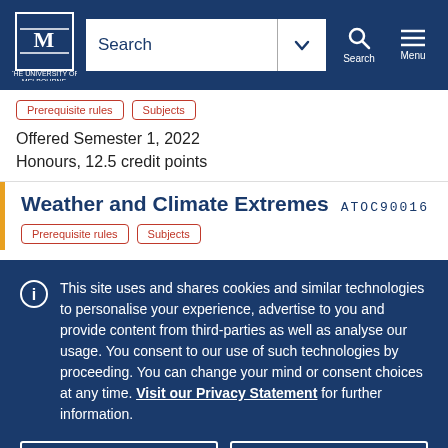University of Melbourne — Search navigation bar
Offered Semester 1, 2022
Honours, 12.5 credit points
Weather and Climate Extremes ATOC90016
This site uses and shares cookies and similar technologies to personalise your experience, advertise to you and provide content from third-parties as well as analyse our usage. You consent to our use of such technologies by proceeding. You can change your mind or consent choices at any time. Visit our Privacy Statement for further information.
Accept cookies
Cookie Preferences